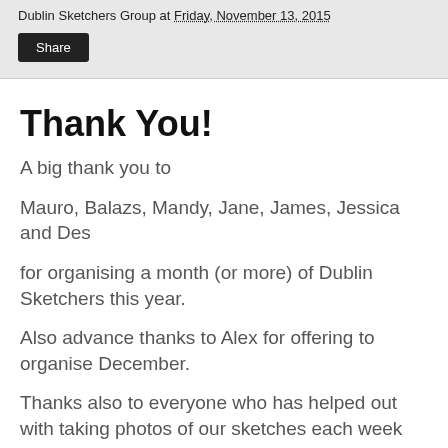Dublin Sketchers Group at Friday, November 13, 2015
Thank You!
A big thank you to
Mauro, Balazs, Mandy, Jane, James, Jessica and Des
for organising a month (or more) of Dublin Sketchers this year.
Also advance thanks to Alex for offering to organise December.
Thanks also to everyone who has helped out with taking photos of our sketches each week and putting them on the website.
Dublin Sketchers has been going for 7 years! It's a simple